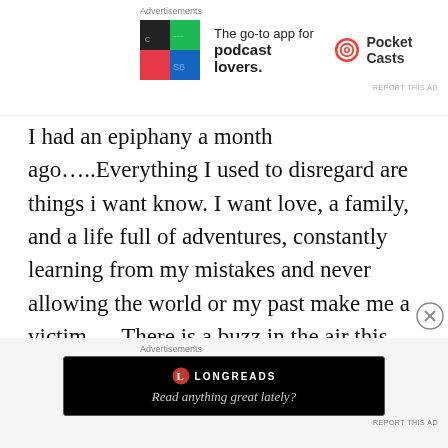[Figure (infographic): Pocket Casts advertisement banner with app icon squares (black, green, red, blue), text 'The go-to app for podcast lovers.' and Pocket Casts circular logo with brand name]
I had an epiphany a month ago…..Everything I used to disregard are things i want know. I want love, a family, and a life full of adventures, constantly learning from my mistakes and never allowing the world or my past make me a victim…..There is a buzz in the air this summer….changes….I can feel it coming….even if it starts bad, the learning factor will make me rise through
[Figure (infographic): Longreads advertisement banner with black background, Longreads logo, and text 'Read anything great lately?']